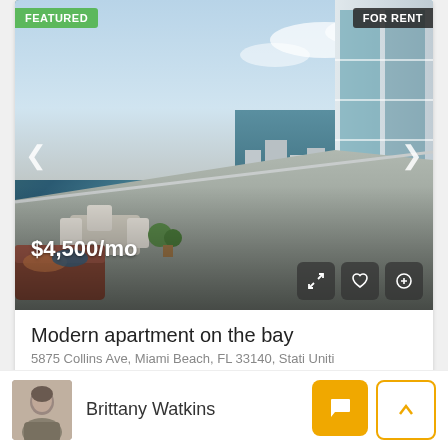[Figure (photo): Modern luxury apartment balcony with outdoor furniture and aerial city/beach view, Miami Beach high-rise]
FEATURED
FOR RENT
$4,500/mo
Modern apartment on the bay
5875 Collins Ave, Miami Beach, FL 33140, Stati Uniti
2  1  2400 Sq Ft  APARTMENT
Brittany Watkins